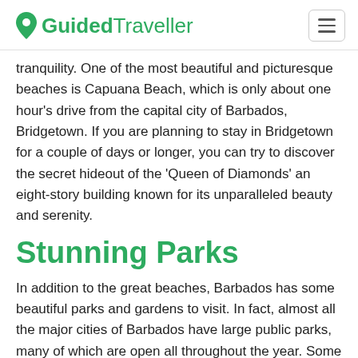GuidedTraveller
tranquility. One of the most beautiful and picturesque beaches is Capuana Beach, which is only about one hour's drive from the capital city of Barbados, Bridgetown. If you are planning to stay in Bridgetown for a couple of days or longer, you can try to discover the secret hideout of the 'Queen of Diamonds' an eight-story building known for its unparalleled beauty and serenity.
Stunning Parks
In addition to the great beaches, Barbados has some beautiful parks and gardens to visit. In fact, almost all the major cities of Barbados have large public parks, many of which are open all throughout the year. Some of the attractions in Barbados during the rainy